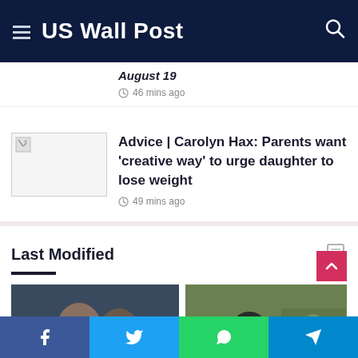US Wall Post
August 19
46 mins ago
[Figure (photo): Thumbnail image placeholder (broken image icon)]
Advice | Carolyn Hax: Parents want 'creative way' to urge daughter to lose weight
49 mins ago
Last Modified
[Figure (photo): Sports photo showing two female basketball players facing each other]
[Figure (photo): Photo of a woman with long dark hair sitting outdoors in a garden]